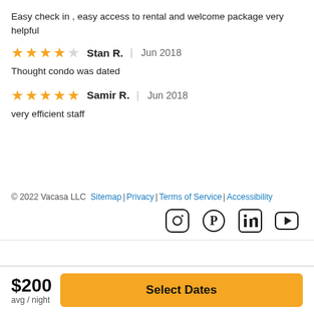Easy check in , easy access to rental and welcome package very helpful
★★★★☆ Stan R. | Jun 2018
Thought condo was dated
★★★★★ Samir R. | Jun 2018
very efficient staff
© 2022 Vacasa LLC  Sitemap | Privacy | Terms of Service | Accessibility
$200 avg / night  Select Dates